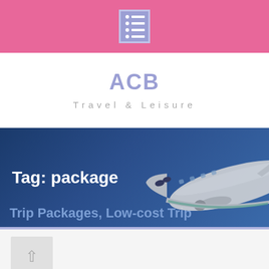[Figure (logo): Pink header bar with a list/menu icon in a purple box]
ACB
Travel & Leisure
Tag: package
[Figure (illustration): Dark blue banner background with an airplane nose visible at the lower right]
Trip Packages, Low-cost Trip